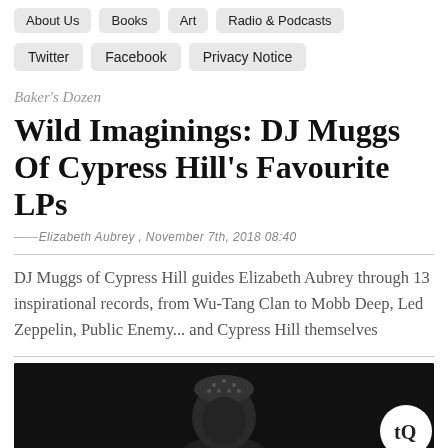About Us  Books  Art  Radio & Podcasts
Twitter  Facebook  Privacy Notice
Baker's Dozen
Wild Imaginings: DJ Muggs Of Cypress Hill's Favourite LPs
— Elizabeth Aubrey , November 7th, 2018 08:40
DJ Muggs of Cypress Hill guides Elizabeth Aubrey through 13 inspirational records, from Wu-Tang Clan to Mobb Deep, Led Zeppelin, Public Enemy... and Cypress Hill themselves
[Figure (photo): Dark portrait photo of DJ Muggs wearing a patterned beanie/bandana, with The Quietus tQ logo watermark in bottom right corner]